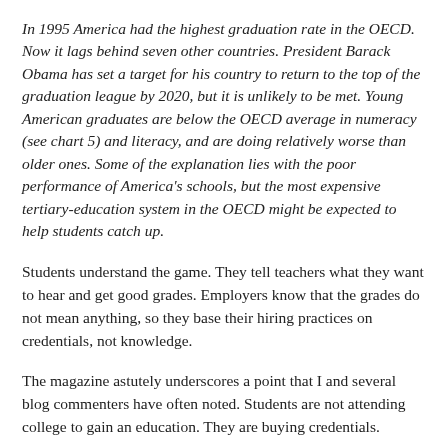In 1995 America had the highest graduation rate in the OECD. Now it lags behind seven other countries. President Barack Obama has set a target for his country to return to the top of the graduation league by 2020, but it is unlikely to be met. Young American graduates are below the OECD average in numeracy (see chart 5) and literacy, and are doing relatively worse than older ones. Some of the explanation lies with the poor performance of America's schools, but the most expensive tertiary-education system in the OECD might be expected to help students catch up.
Students understand the game. They tell teachers what they want to hear and get good grades. Employers know that the grades do not mean anything, so they base their hiring practices on credentials, not knowledge.
The magazine astutely underscores a point that I and several blog commenters have often noted. Students are not attending college to gain an education. They are buying credentials.
Degrees matter when they signal to prospective employers that an individual went to a selective university. Future employers still believe in the selection process, the game of admissions – far more...